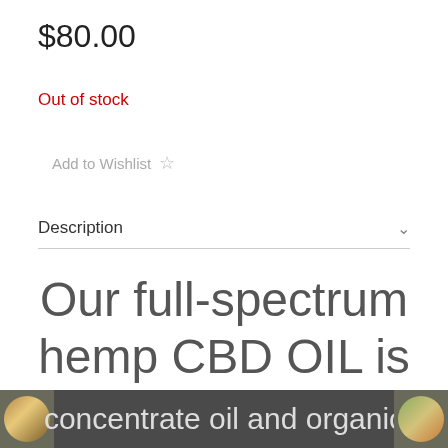$80.00
Out of stock
Add to Wishlist ☆
Description
Our full-spectrum hemp CBD OIL is the perfect combination of our full-spectrum hemp CBD
concentrate oil and organic